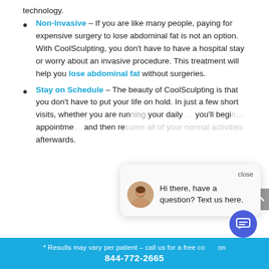technology.
Non-Invasive – If you are like many people, paying for expensive surgery to lose abdominal fat is not an option. With CoolSculpting, you don't have to have a hospital stay or worry about an invasive procedure. This treatment will help you lose abdominal fat without surgeries.
Stay on Schedule – The beauty of CoolSculpting is that you don't have to put your life on hold. In just a few short visits, whether you are running your daily … you'll begin … appointments … and then resume all of your normal activities afterwards.
* Results may vary per patient – call us for a free consultation
844-772-2665